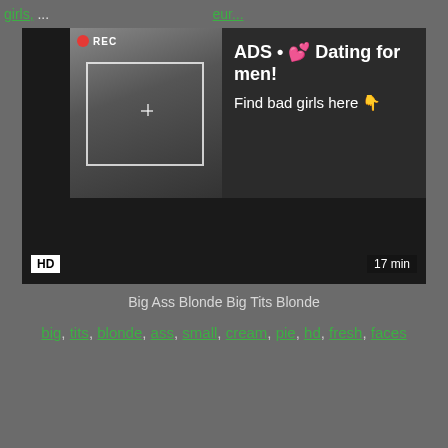girls, ... eur...
[Figure (screenshot): Video player with ad overlay showing a woman taking a selfie, REC indicator, camera frame overlay, HD badge bottom-left, 17 min duration badge bottom-right. Ad text reads: ADS • 💕 Dating for men! Find bad girls here 👇]
Big Ass Blonde Big Tits Blonde
big, tits, blonde, ass, small, cream, pie, hd, fresh, faces